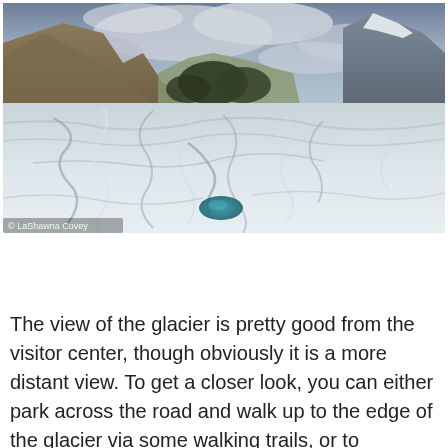[Figure (photo): Panoramic photo of a glacier viewed from its surface, showing textured blue-white ice in the foreground with a small turquoise meltwater pool, and rugged mountains and dramatic cloudy sky in the background. Photo credit: © LaShawna Covey watermark in bottom left corner.]
The view of the glacier is pretty good from the visitor center, though obviously it is a more distant view. To get a closer look, you can either park across the road and walk up to the edge of the glacier via some walking trails, or to